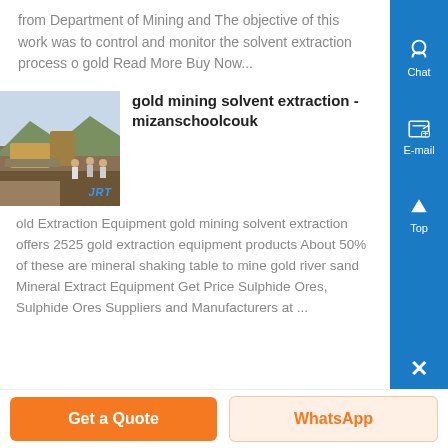from Department of Mining and The objective of this work was to control and monitor the solvent extraction process of gold Read More Buy Now...
[Figure (photo): Mining site with heavy equipment and workers in foreground, hills in background, labeled JRT]
gold mining solvent extraction - mizanschoolcouk
old Extraction Equipment gold mining solvent extraction offers 2525 gold extraction equipment products About 50% of these are mineral shaking table to mine gold river sand Mineral Extract Equipment Get Price Sulphide Ores, Sulphide Ores Suppliers and Manufacturers at ...